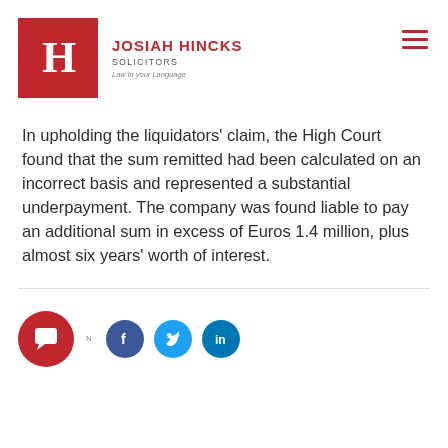[Figure (logo): Josiah Hincks Solicitors logo — red square with white H, firm name in red uppercase, tagline 'Law in your Language']
In upholding the liquidators' claim, the High Court found that the sum remitted had been calculated on an incorrect basis and represented a substantial underpayment. The company was found liable to pay an additional sum in excess of Euros 1.4 million, plus almost six years' worth of interest.
[Figure (infographic): Social sharing icons: chat bubble (red), Facebook (blue), Twitter (cyan), LinkedIn (blue)]